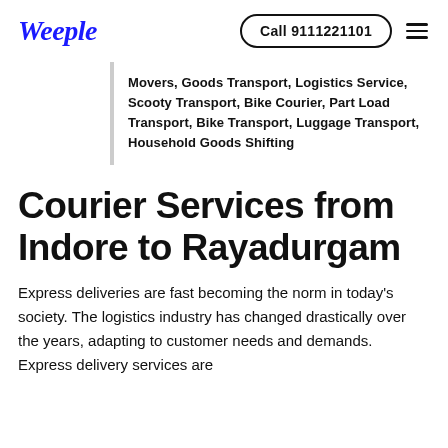Weeple  Call 9111221101
Movers, Goods Transport, Logistics Service, Scooty Transport, Bike Courier, Part Load Transport, Bike Transport, Luggage Transport, Household Goods Shifting
Courier Services from Indore to Rayadurgam
Express deliveries are fast becoming the norm in today's society. The logistics industry has changed drastically over the years, adapting to customer needs and demands. Express delivery services are